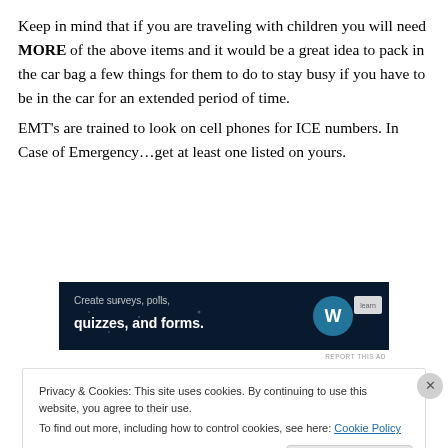Keep in mind that if you are traveling with children you will need MORE of the above items and it would be a great idea to pack in the car bag a few things for them to do to stay busy if you have to be in the car for an extended period of time.
EMT's are trained to look on cell phones for ICE numbers. In Case of Emergency…get at least one listed on yours.
[Figure (screenshot): WordPress advertisement banner: dark navy background with text 'Create surveys, polls, quizzes, and forms.' and WordPress logo on right]
REPORT THIS AD
Privacy & Cookies: This site uses cookies. By continuing to use this website, you agree to their use.
To find out more, including how to control cookies, see here: Cookie Policy